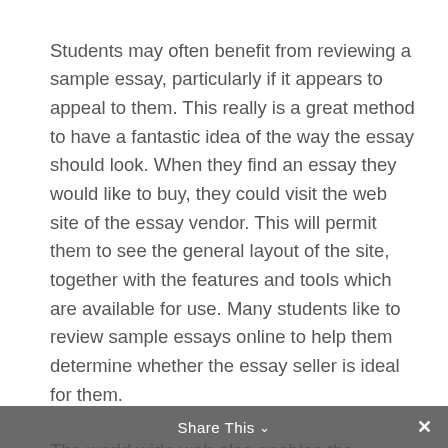Students may often benefit from reviewing a sample essay, particularly if it appears to appeal to them. This really is a great method to have a fantastic idea of the way the essay should look. When they find an essay they would like to buy, they could visit the web site of the essay vendor. This will permit them to see the general layout of the site, together with the features and tools which are available for use. Many students like to review sample essays online to help them determine whether the essay seller is ideal for them.
The world wide web also enables the student to find a seller in any place that he or she might be. This can produce the essay seller's shipping
Share This ∨  ×